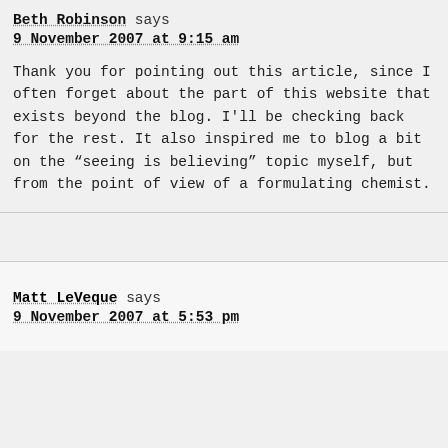Beth Robinson says
9 November 2007 at 9:15 am
Thank you for pointing out this article, since I often forget about the part of this website that exists beyond the blog. I'll be checking back for the rest. It also inspired me to blog a bit on the “seeing is believing” topic myself, but from the point of view of a formulating chemist.
Matt LeVeque says
9 November 2007 at 5:53 pm